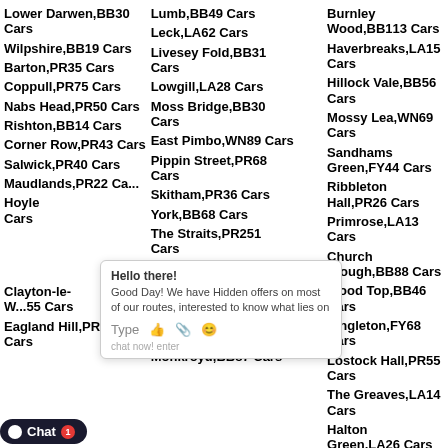Lower Darwen,BB30 Cars
Lumb,BB49 Cars
Burnley Wood,BB113 Cars
Wilpshire,BB19 Cars
Leck,LA62 Cars
Haverbreaks,LA15 Cars
Barton,PR35 Cars
Livesey Fold,BB31 Cars
Hillock Vale,BB56 Cars
Coppull,PR75 Cars
Lowgill,LA28 Cars
Mossy Lea,WN69 Cars
Nabs Head,PR50 Cars
Moss Bridge,BB30 Cars
Sandhams Green,FY44 Cars
Rishton,BB14 Cars
East Pimbo,WN89 Cars
Ribbleton Hall,PR26 Cars
Corner Row,PR43 Cars
Pippin Street,PR68 Cars
Primrose,LA13 Cars
Salwick,PR40 Cars
Skitham,PR36 Cars
Church Clough,BB88 Cars
Maudlands,PR22 Cars
York,BB68 Cars
Wood Top,BB46 Cars
Hoyle Cars
The Straits,PR251 Cars
Singleton,FY68 Cars
Salesb...
Top o th Lane,PR68 Cars
Lostock Hall,PR55 Cars
Coppu... Cars
Higher Audley,BB11 Cars
The Greaves,LA14 Cars
Clayton-le-W...55 Cars
Hawes Side,FY44 Cars
Halton Green,LA26 Cars
Eagland Hill,PR36 Cars
Monkroyd,BB87 Cars
Pincock,PR76 Cars